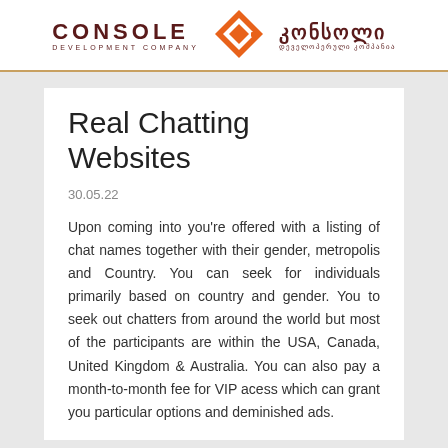CONSOLE DEVELOPMENT COMPANY [logo] კონსოლი დეველოპერული კომპანია
Real Chatting Websites
30.05.22
Upon coming into you're offered with a listing of chat names together with their gender, metropolis and Country. You can seek for individuals primarily based on country and gender. You to seek out chatters from around the world but most of the participants are within the USA, Canada, United Kingdom & Australia. You can also pay a month-to-month fee for VIP acess which can grant you particular options and deminished ads.